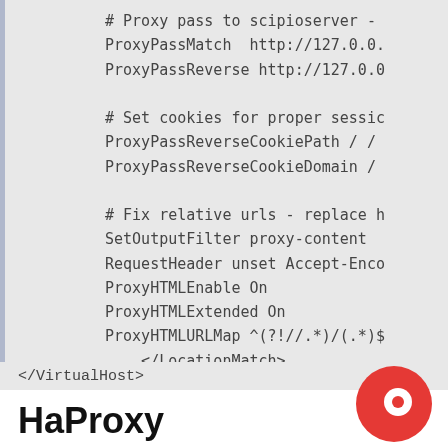[Figure (screenshot): Code block showing Apache configuration snippet with ProxyPassMatch, ProxyPassReverse, ProxyPassReverseCookiePath, ProxyPassReverseCookieDomain, SetOutputFilter, RequestHeader, ProxyHTMLEnable, ProxyHTMLExtended, ProxyHTMLURLMap directives and closing LocationMatch and VirtualHost tags]
HaProxy